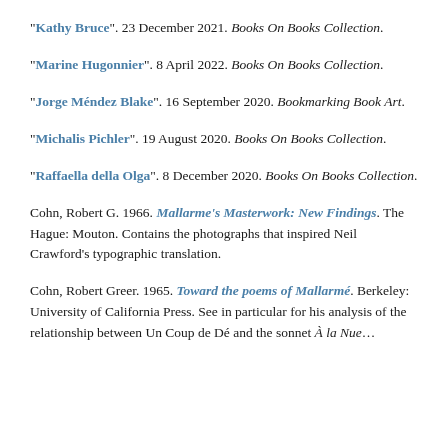"Kathy Bruce". 23 December 2021. Books On Books Collection.
"Marine Hugonnier". 8 April 2022. Books On Books Collection.
"Jorge Méndez Blake". 16 September 2020. Bookmarking Book Art.
"Michalis Pichler". 19 August 2020. Books On Books Collection.
"Raffaella della Olga". 8 December 2020. Books On Books Collection.
Cohn, Robert G. 1966. Mallarme's Masterwork: New Findings. The Hague: Mouton. Contains the photographs that inspired Neil Crawford's typographic translation.
Cohn, Robert Greer. 1965. Toward the poems of Mallarmé. Berkeley: University of California Press. See in particular for his analysis of the relationship between Un Coup de Dé and the sonnet À la Nue.